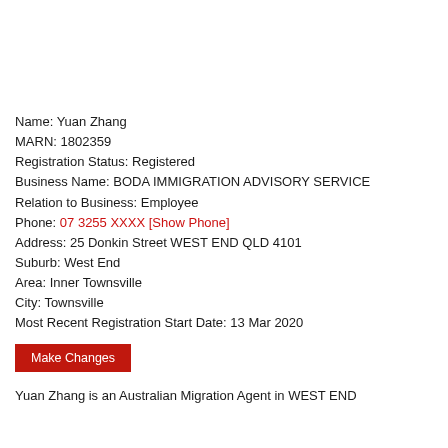Name: Yuan Zhang
MARN: 1802359
Registration Status: Registered
Business Name: BODA IMMIGRATION ADVISORY SERVICE
Relation to Business: Employee
Phone: 07 3255 XXXX [Show Phone]
Address: 25 Donkin Street WEST END QLD 4101
Suburb: West End
Area: Inner Townsville
City: Townsville
Most Recent Registration Start Date: 13 Mar 2020
Make Changes
Yuan Zhang is an Australian Migration Agent in WEST END